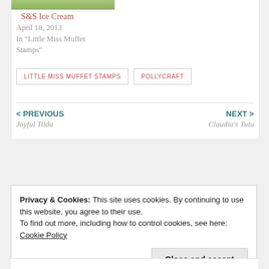[Figure (photo): Partial view of a crafting/stamp image at top of page]
S&S Ice Cream
April 18, 2013
In "Little Miss Muffet Stamps"
LITTLE MISS MUFFET STAMPS
POLLYCRAFT
< PREVIOUS
Joyful Tilda
NEXT >
Claudia's Tutu
Privacy & Cookies: This site uses cookies. By continuing to use this website, you agree to their use.
To find out more, including how to control cookies, see here: Cookie Policy
Close and accept